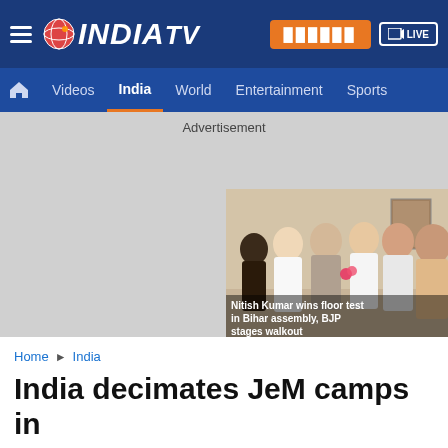[Figure (logo): India TV logo in white on dark blue navigation bar with hamburger menu, subscribe button, and live TV button]
Videos  India  World  Entertainment  Sports
Advertisement
[Figure (photo): Photo thumbnail showing group of people at what appears to be a political event. Overlay text reads: Nitish Kumar wins floor test in Bihar assembly, BJP stages walkout]
Home ▶ India
India decimates JeM camps in